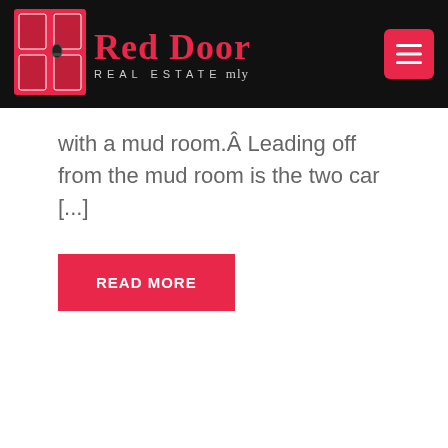[Figure (logo): Red Door Real Estate logo with red door graphic and text]
with a mud room.Â Leading off from the mud room is the two car [...]
READ MORE